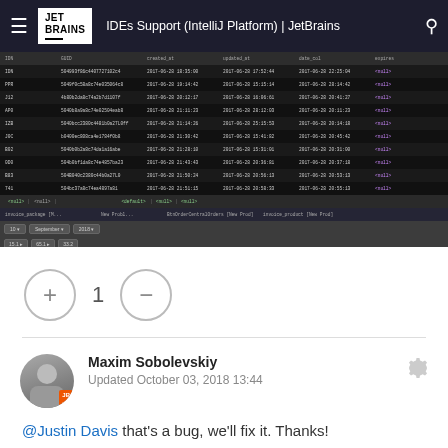IDEs Support (IntelliJ Platform) | JetBrains
[Figure (screenshot): Database query result screenshot showing rows of data with timestamps and null values in a dark IDE theme, with pagination controls]
+ 1 -
Maxim Sobolevskiy
Updated October 03, 2018 13:44
@Justin Davis that's a bug, we'll fix it. Thanks!